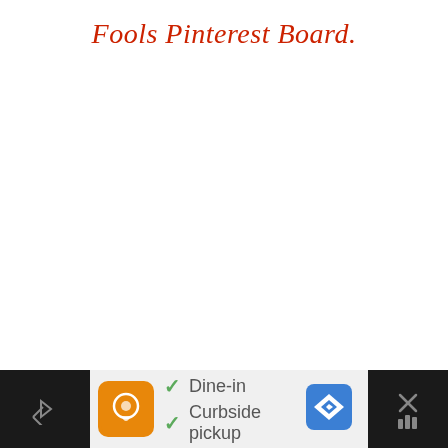Fools Pinterest Board.
Dine-in / Curbside pickup ad banner